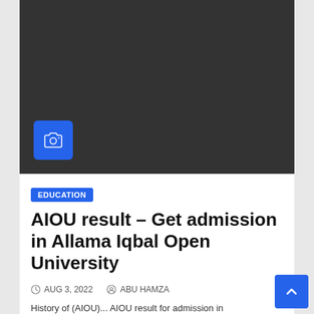[Figure (photo): Dark placeholder image with a blue camera icon in the lower-left corner]
EDUCATION
AIOU result – Get admission in Allama Iqbal Open University
AUG 3, 2022   ABU HAMZA
History of (AIOU)... AIOU result for admission...